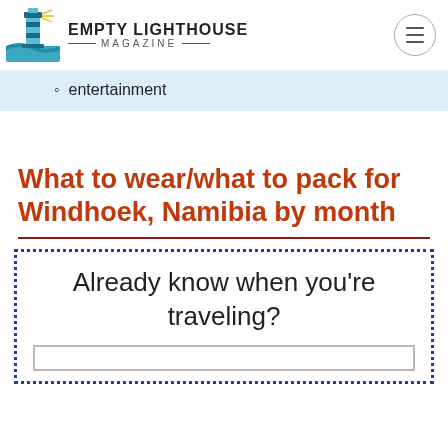EMPTY LIGHTHOUSE MAGAZINE
entertainment
What to wear/what to pack for Windhoek, Namibia by month
Already know when you're traveling?